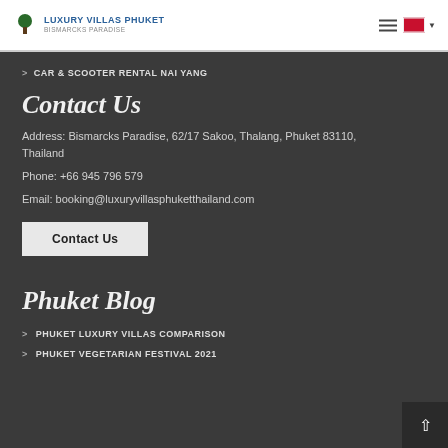Luxury Villas Phuket – Bismarcks Paradise
CAR & SCOOTER RENTAL NAI YANG
Contact Us
Address: Bismarcks Paradise, 62/17 Sakoo, Thalang, Phuket 83110, Thailand
Phone: +66 945 796 579
Email: booking@luxuryvillasphuketthailand.com
Contact Us
Phuket Blog
PHUKET LUXURY VILLAS COMPARISON
PHUKET VEGETARIAN FESTIVAL 2021